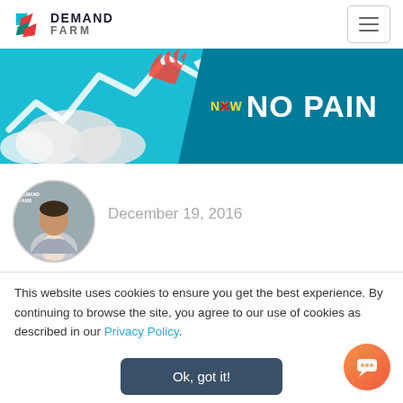[Figure (logo): Demand Farm logo with colorful icon and text DEMAND FARM]
[Figure (photo): Website banner with teal background showing a zigzag chart arrow and clouds on the left, and text 'NXW NO PAIN' on the right dark teal section]
[Figure (photo): Circular avatar photo of a man in a suit jacket, with Demand Farm logo overlay]
December 19, 2016
This website uses cookies to ensure you get the best experience. By continuing to browse the site, you agree to our use of cookies as described in our Privacy Policy.
Ok, got it!